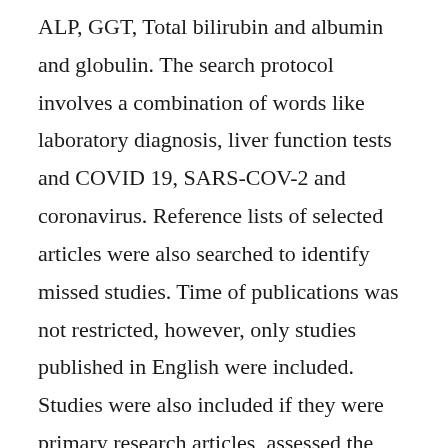ALP, GGT, Total bilirubin and albumin and globulin. The search protocol involves a combination of words like laboratory diagnosis, liver function tests and COVID 19, SARS-COV-2 and coronavirus. Reference lists of selected articles were also searched to identify missed studies. Time of publications was not restricted, however, only studies published in English were included. Studies were also included if they were primary research articles, assessed the association between serum levels of liver biochemical outcome from COVID 19 infection and reported in mean (SD) or median (IQR). Review articles, expert opinions, books,